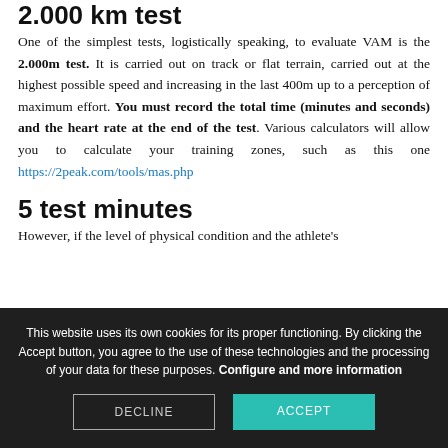2.000 km test
One of the simplest tests, logistically speaking, to evaluate VAM is the 2.000m test. It is carried out on track or flat terrain, carried out at the highest possible speed and increasing in the last 400m up to a perception of maximum effort. You must record the total time (minutes and seconds) and the heart rate at the end of the test. Various calculators will allow you to calculate your training zones, such as this one https://2peak.com/tools/mas.php
5 test minutes
However, if the level of physical condition and the athlete's
This website uses its own cookies for its proper functioning. By clicking the Accept button, you agree to the use of these technologies and the processing of your data for these purposes. Configure and more information
DECLINE
ACCEPT